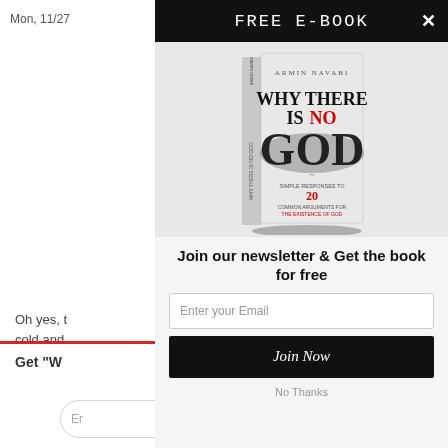Mon, 11/27
FREE E-BOOK
[Figure (photo): Book cover: 'Why There Is No God' by Armin Navabi. White cover with dark smoky lettering. Subtitle: Simple Responses to 20 Common Arguments for the Existence of God.]
Oh yes, t... cold and
Get "W
Enter your Email
Join our newsletter & Get the book for free
Enter your Email
Join Now
No Thanks
Er